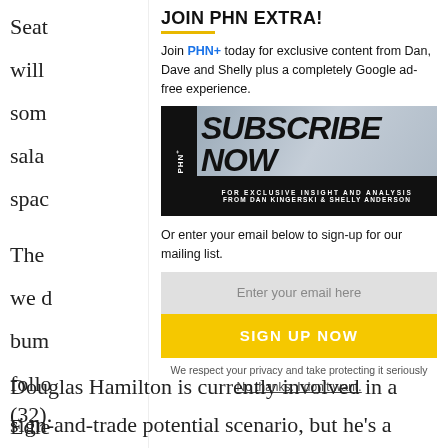Seat
will
som
sala
spac
The
we d
bum
follo
Edle
(32).
Douglas Hamilton is currently involved in a sign-and-trade potential scenario, but he's a
JOIN PHN EXTRA!
Join PHN+ today for exclusive content from Dan, Dave and Shelly plus a completely Google ad-free experience.
[Figure (illustration): PHN+ Subscribe Now banner - black background with large bold italic white/black text reading SUBSCRIBE NOW, smaller text FOR EXCLUSIVE INSIGHT AND ANALYSIS FROM DAN KINGERSKI & SHELLY ANDERSON]
Or enter your email below to sign-up for our mailing list.
Enter your email here
SIGN UP NOW
We respect your privacy and take protecting it seriously
No thanks. I don't want.